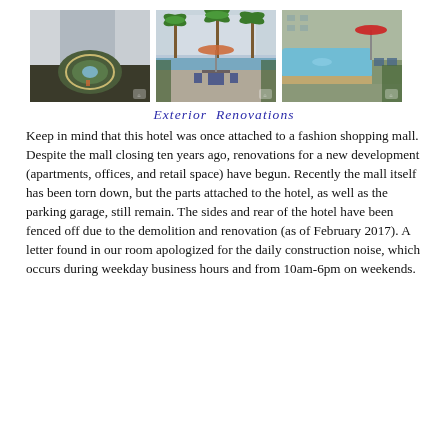[Figure (photo): Three hotel exterior/courtyard photos: left shows aerial view of circular fountain/garden area; center shows pool/patio area with palm trees and umbrellas; right shows pool area with red umbrella.]
Exterior Renovations
Keep in mind that this hotel was once attached to a fashion shopping mall. Despite the mall closing ten years ago, renovations for a new development (apartments, offices, and retail space) have begun. Recently the mall itself has been torn down, but the parts attached to the hotel, as well as the parking garage, still remain. The sides and rear of the hotel have been fenced off due to the demolition and renovation (as of February 2017). A letter found in our room apologized for the daily construction noise, which occurs during weekday business hours and from 10am-6pm on weekends.